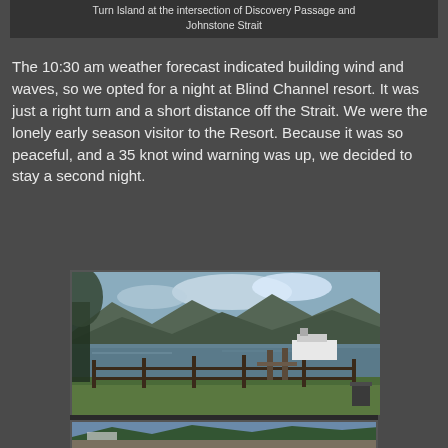Turn Island at the intersection of Discovery Passage and Johnstone Strait
The 10:30 am weather forecast indicated building wind and waves, so we opted for a night at Blind Channel resort.  It was just a right turn and a short distance off the Strait.  We were the lonely early season visitor to the Resort.  Because it was so peaceful, and a 35 knot wind warning was up, we decided to stay a second night.
[Figure (photo): A boat moored at a dock in Blind Channel, with green lawn, wooden fence, forested mountains and calm water visible in the background.]
The only boat in Blind Channel
[Figure (photo): Two people standing on a rocky shore with a boat, trees, and water visible behind them.]